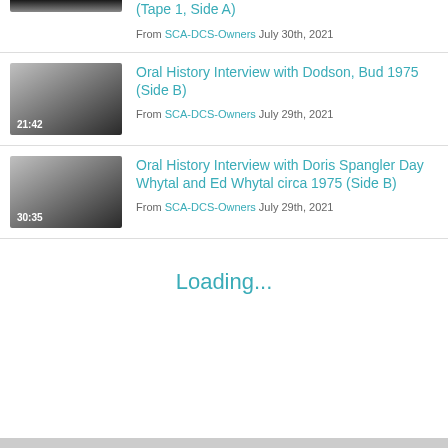[Figure (screenshot): Video thumbnail showing dark gradient, partially visible at top]
(Tape 1, Side A)
From SCA-DCS-Owners July 30th, 2021
[Figure (screenshot): Video thumbnail with duration 21:42, gray gradient]
Oral History Interview with Dodson, Bud 1975 (Side B)
From SCA-DCS-Owners July 29th, 2021
[Figure (screenshot): Video thumbnail with duration 30:35, gray gradient]
Oral History Interview with Doris Spangler Day Whytal and Ed Whytal circa 1975 (Side B)
From SCA-DCS-Owners July 29th, 2021
Loading...